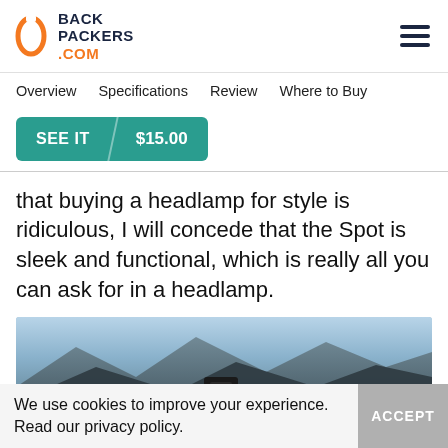BACK PACKERS .COM
Overview   Specifications   Review   Where to Buy
SEE IT   $15.00
that buying a headlamp for style is ridiculous, I will concede that the Spot is sleek and functional, which is really all you can ask for in a headlamp.
[Figure (photo): Photo of a headlamp device against a mountainous outdoor landscape with sky.]
We use cookies to improve your experience. Read our privacy policy.